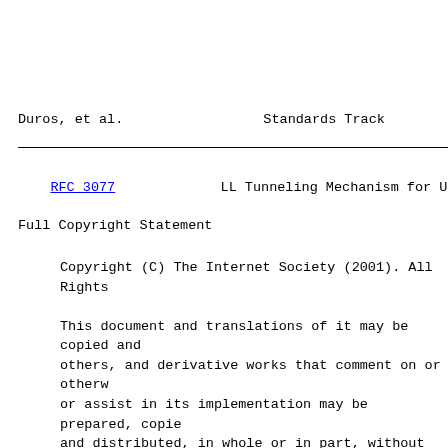Duros, et al.                    Standards Track
RFC 3077             LL Tunneling Mechanism for UDLs
Full Copyright Statement
Copyright (C) The Internet Society (2001).  All Rights

This document and translations of it may be copied and
others, and derivative works that comment on or otherw
or assist in its implementation may be prepared, copie
and distributed, in whole or in part, without restrict
kind, provided that the above copyright notice and thi
included on all such copies and derivative works.  How
document itself may not be modified in any way, such a
the copyright notice or references to the Internet Soc
Internet organizations, except as needed for the purpo
developing Internet standards in which case the proced
copyrights defined in the Internet Standards process m